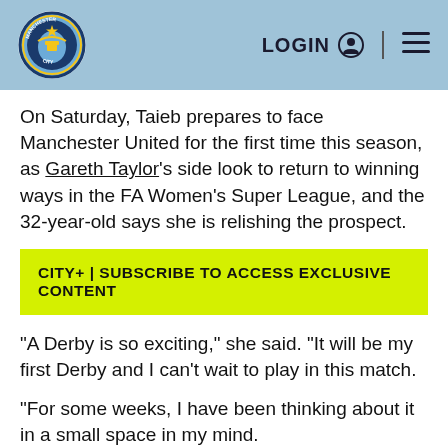Manchester City | LOGIN | menu
On Saturday, Taieb prepares to face Manchester United for the first time this season, as Gareth Taylor's side look to return to winning ways in the FA Women's Super League, and the 32-year-old says she is relishing the prospect.
CITY+ | SUBSCRIBE TO ACCESS EXCLUSIVE CONTENT
“A Derby is so exciting,” she said. “It will be my first Derby and I can’t wait to play in this match.
“For some weeks, I have been thinking about it in a small space in my mind.
“These games, you want to win even more. We always want to win and we’re always excited to